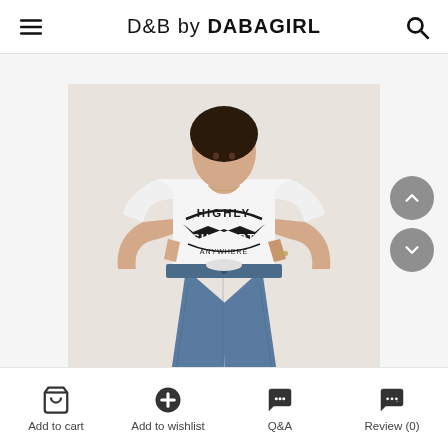D&B by DABAGIRL
[Figure (photo): Fashion product photo showing a woman wearing a white graphic crop t-shirt with 'HIGHLY SUPPORT' text print and blue high-waist skinny jeans, posed against a cream/beige background.]
Add to cart
Add to wishlist
Q&A
Review (0)